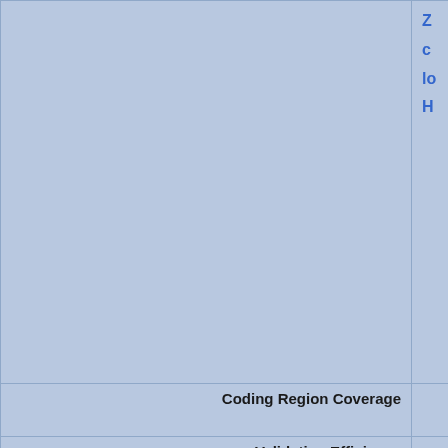| Field | Value |
| --- | --- |
|  | Z... / c... / lo... / H... |
| Coding Region Coverage |  |
| Validation Efficiency |  |
| MGI Phenotype | FU... It i... up... int... re... iso... PH... ab... |
| Allele List at MGI |  |
| Other mutations in this stock | To... |